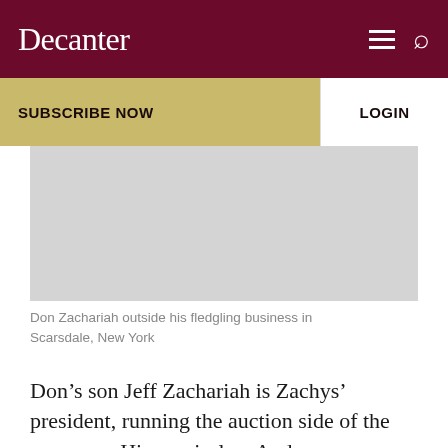Decanter
SUBSCRIBE NOW
LOGIN
[Figure (photo): Gray placeholder image representing Don Zachariah outside his fledgling business in Scarsdale, New York]
Don Zachariah outside his fledgling business in Scarsdale, New York
Don’s son Jeff Zachariah is Zachys’ president, running the auction side of the company. His son-in-law Andrew McMurray is vice-president, heading up retail.